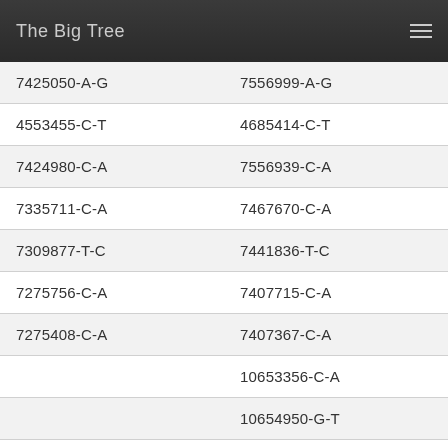The Big Tree
| Column 1 | Column 2 |
| --- | --- |
| 7425050-A-G | 7556999-A-G |
| 4553455-C-T | 4685414-C-T |
| 7424980-C-A | 7556939-C-A |
| 7335711-C-A | 7467670-C-A |
| 7309877-T-C | 7441836-T-C |
| 7275756-C-A | 7407715-C-A |
| 7275408-C-A | 7407367-C-A |
|  | 10653356-C-A |
|  | 10654950-G-T |
| 7214381-C-A | 7346340-C-A |
|  | 10802855-C-A |